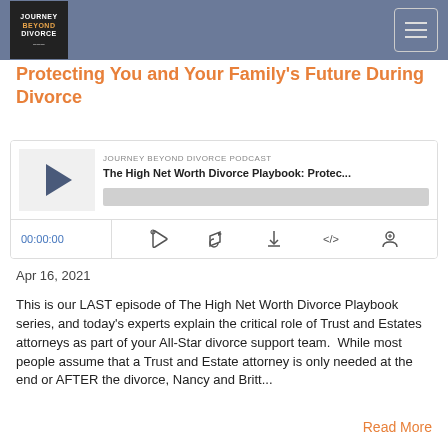JOURNEY BEYOND DIVORCE
Protecting You and Your Family's Future During Divorce
[Figure (screenshot): Podcast player widget for Journey Beyond Divorce Podcast episode 'The High Net Worth Divorce Playbook: Protec...' showing play button, progress bar, time display 00:00:00, and media controls]
Apr 16, 2021
This is our LAST episode of The High Net Worth Divorce Playbook series, and today's experts explain the critical role of Trust and Estates attorneys as part of your All-Star divorce support team.  While most people assume that a Trust and Estate attorney is only needed at the end or AFTER the divorce, Nancy and Britt...
Read More